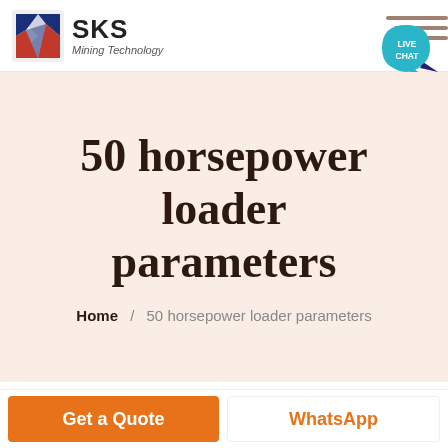SKS Mining Technology
50 horsepower loader parameters
Home / 50 horsepower loader parameters
Get a Quote
WhatsApp